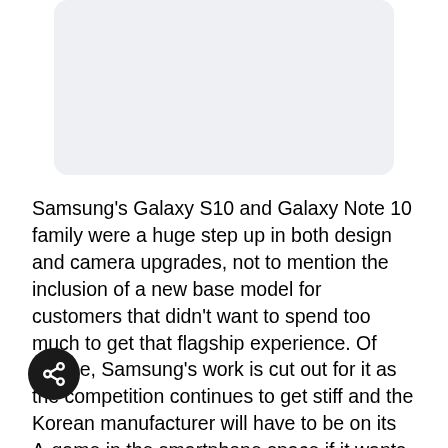[Figure (other): Light gray rounded rectangle placeholder image area]
Samsung's Galaxy S10 and Galaxy Note 10 family were a huge step up in both design and camera upgrades, not to mention the inclusion of a new base model for customers that didn’t want to spend too much to get that flagship experience. Of course, Samsung’s work is cut out for it as the competition continues to get stiff and the Korean manufacturer will have to be on its A-game in the smartphone space if it wants to maintain that top position in the market. Fortunately, some preliminary Galaxy S11 specifications have leaked, providing potential customers some info in case they wanted to upgrade next year. On paper, they look very promising.